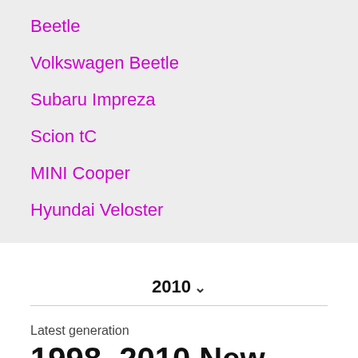Beetle
Volkswagen Beetle
Subaru Impreza
Scion tC
MINI Cooper
Hyundai Veloster
2010 ∨
Latest generation
1998–2010 New Beetle